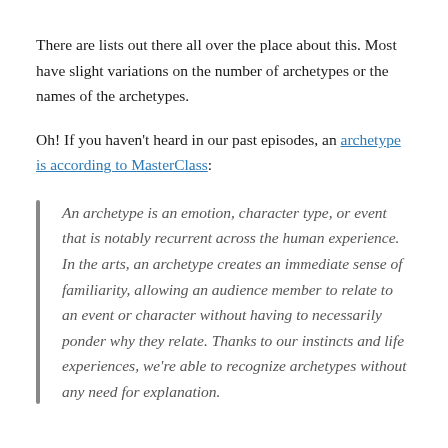There are lists out there all over the place about this. Most have slight variations on the number of archetypes or the names of the archetypes.
Oh! If you haven't heard in our past episodes, an archetype is according to MasterClass:
An archetype is an emotion, character type, or event that is notably recurrent across the human experience. In the arts, an archetype creates an immediate sense of familiarity, allowing an audience member to relate to an event or character without having to necessarily ponder why they relate. Thanks to our instincts and life experiences, we're able to recognize archetypes without any need for explanation.